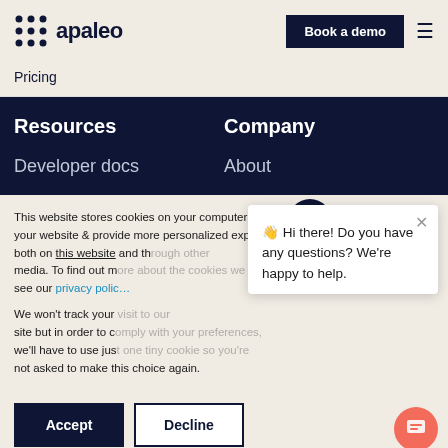apaleo | Book a demo
Pricing
Resources
Company
Developer docs
About
This website stores cookies on your computer to improve your website & provide more personalized experience, both on this website and through other media. To find out more about the cookies we use, see our privacy polic…
We won't track your… site but in order to c… we'll have to use jus… not asked to make this choice again.
👋 Hi there! Do you have any questions? We're happy to help.